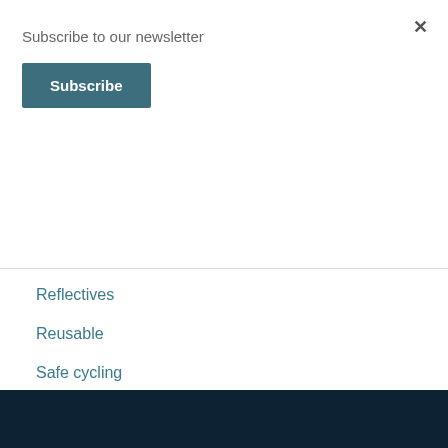×
Subscribe to our newsletter
Subscribe
Reflectives
Reusable
Safe cycling
Style Your Ride
UK
Waterproofs